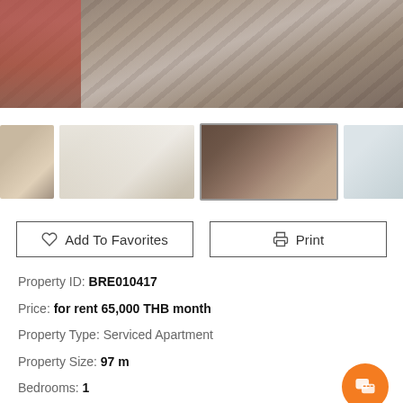[Figure (photo): Main hero photo of apartment interior showing dark hardwood floors, panoramic view]
[Figure (photo): Row of thumbnail photos of apartment interior rooms]
Add To Favorites
Print
Property ID: BRE010417
Price: for rent 65,000 THB month
Property Type: Serviced Apartment
Property Size: 97 m
Bedrooms: 1
Bathrooms: 1